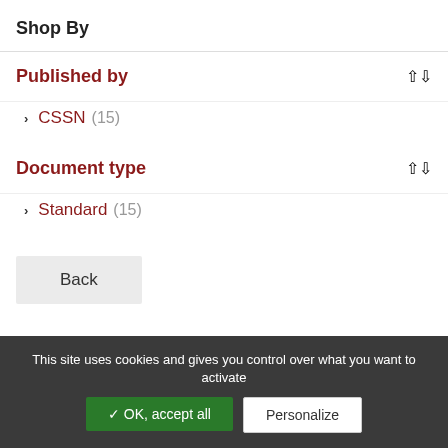Shop By
Published by
CSSN (15)
Document type
Standard (15)
Back
This site uses cookies and gives you control over what you want to activate
✓ OK, accept all
Personalize